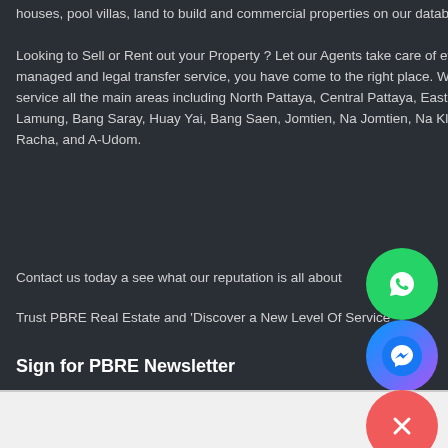houses, pool villas, land to build and commercial properties on our database.
Looking to Sell or Rent out your Property ? Let our Agents take care of everything, from free no obligation visit, free property listing to fully managed and legal transfer service, you have come to the right place. With Six Offices across Pattaya, we are perfectly positioned to service all the main areas including North Pattaya, Central Pattaya, East Pattaya, South Pattaya, Mabprachan Lake, Ban Amphur, Bang Lamung, Bang Saray, Huay Yai, Bang Saen, Jomtien, Na Jomtien, Na Kluea, Nong Kham, Pratumnak, Silverlake, Wongamat Beachm, Sri Racha, and A-Udom.
Contact us today a see what our reputation is all about
Trust PBRE Real Estate and 'Discover a New Level Of Service'
Sign for PBRE Newsletter
[Figure (logo): WhatsApp icon circle (green)]
[Figure (logo): Facebook Messenger icon circle (blue)]
[Figure (logo): Close X button circle (red/pink)]
PBRE Real Estate — footer bar with logo and contact buttons (WhatsApp, phone, email)